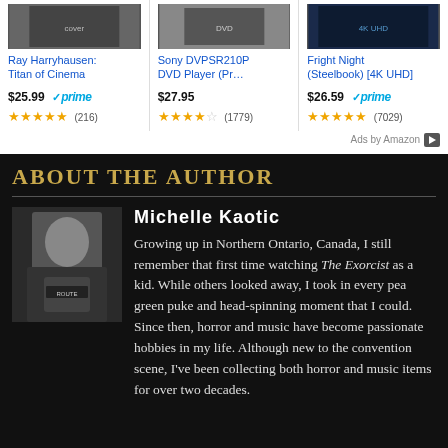[Figure (screenshot): Amazon product card for Ray Harryhausen: Titan of Cinema, $25.99 with Prime, 4.5 stars, 216 reviews]
[Figure (screenshot): Amazon product card for Sony DVPSR210P DVD Player (Pr..., $27.95, 4 stars, 1779 reviews]
[Figure (screenshot): Amazon product card for Fright Night (Steelbook) [4K UHD], $26.59 with Prime, 4.5 stars, 7029 reviews]
Ads by Amazon
ABOUT THE AUTHOR
[Figure (photo): Black and white photo of author Michelle Kaotic showing a person with a Route 666 bottle]
Michelle Kaotic
Growing up in Northern Ontario, Canada, I still remember that first time watching The Exorcist as a kid. While others looked away, I took in every pea green puke and head-spinning moment that I could. Since then, horror and music have become passionate hobbies in my life. Although new to the convention scene, I've been collecting both horror and music items for over two decades.